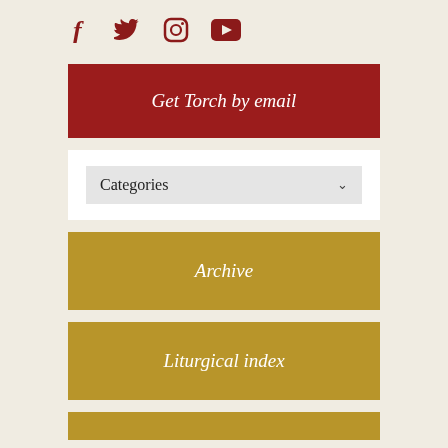[Figure (other): Social media icons: Facebook, Twitter, Instagram, YouTube in dark red color]
Get Torch by email
[Figure (other): Categories dropdown selector with chevron arrow]
Archive
Liturgical index
[Figure (other): Partially visible gold button at bottom of page]